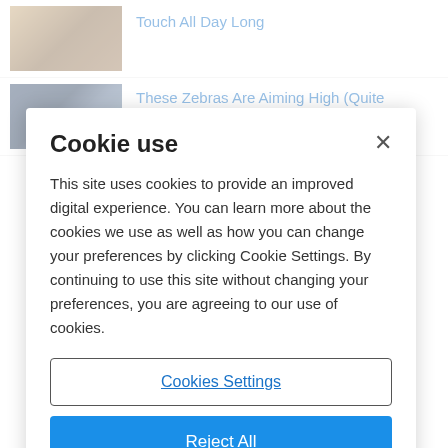[Figure (photo): Thumbnail image showing hands touching or shaking hands, warm tones]
Touch All Day Long
[Figure (photo): Thumbnail image showing people in cold weather gear, winter mountain setting with blue tones]
These Zebras Are Aiming High (Quite Literally) With Ultra-Rugged Aconcagua Climb
Cookie use
This site uses cookies to provide an improved digital experience. You can learn more about the cookies we use as well as how you can change your preferences by clicking Cookie Settings. By continuing to use this site without changing your preferences, you are agreeing to our use of cookies.
Cookies Settings
Reject All
Accept Cookies